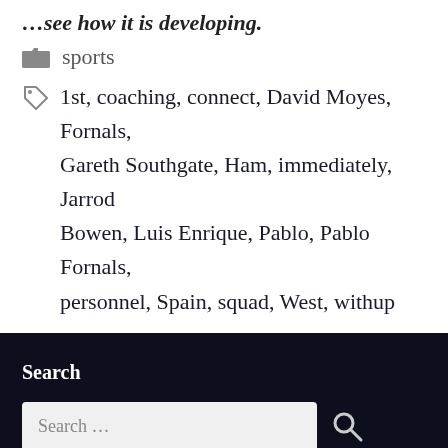…see how it is developing.
sports
1st, coaching, connect, David Moyes, Fornals, Gareth Southgate, Ham, immediately, Jarrod Bowen, Luis Enrique, Pablo, Pablo Fornals, personnel, Spain, squad, West, withup
Search
Search …
Copyright 2022© Thenewzly.com